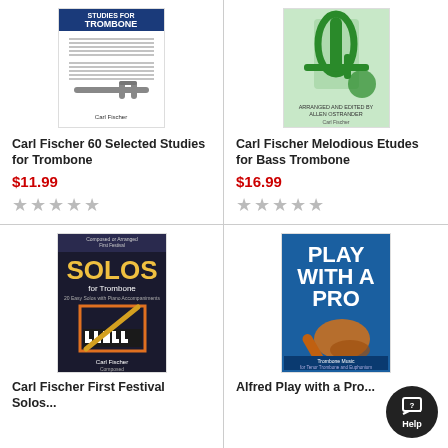[Figure (illustration): Book cover: Carl Fischer 60 Selected Studies for Trombone]
Carl Fischer 60 Selected Studies for Trombone
$11.99
★★★★★ (empty stars)
[Figure (illustration): Book cover: Carl Fischer Melodious Etudes for Bass Trombone]
Carl Fischer Melodious Etudes for Bass Trombone
$16.99
★★★★★ (empty stars)
[Figure (illustration): Book cover: Carl Fischer First Festival Solos for Trombone]
Carl Fischer First Festival Solos...
[Figure (illustration): Book cover: Alfred Play with a Pro Trombone Music]
Alfred Play with a Pro...